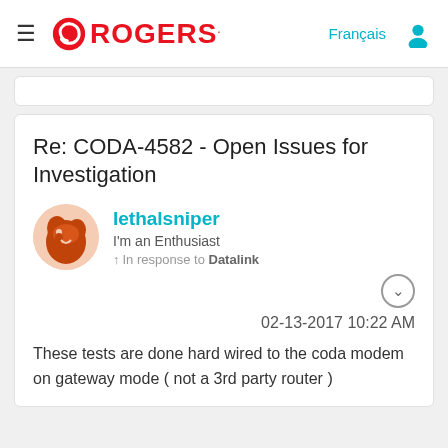ROGERS. | Français | [user icon]
Re: CODA-4582 - Open Issues for Investigation
lethalsniper
I'm an Enthusiast
In response to Datalink
02-13-2017 10:22 AM
These tests are done hard wired to the coda modem on gateway mode ( not a 3rd party router )